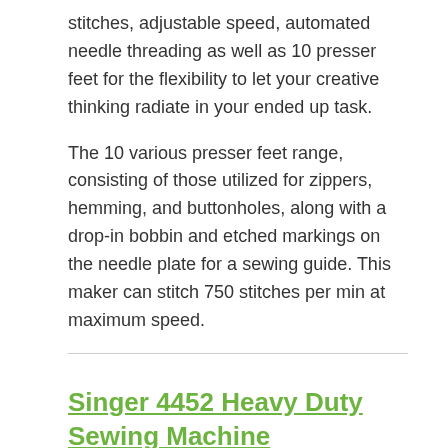stitches, adjustable speed, automated needle threading as well as 10 presser feet for the flexibility to let your creative thinking radiate in your ended up task.
The 10 various presser feet range, consisting of those utilized for zippers, hemming, and buttonholes, along with a drop-in bobbin and etched markings on the needle plate for a sewing guide. This maker can stitch 750 stitches per min at maximum speed.
Singer 4452 Heavy Duty Sewing Machine
Singer likewise has